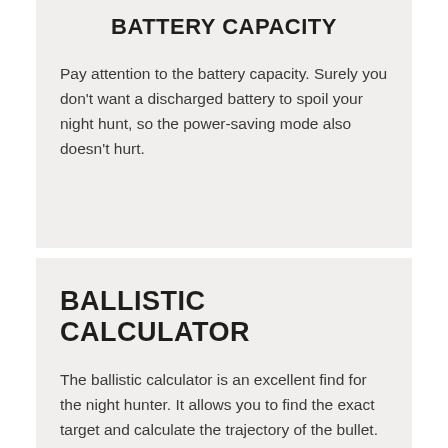BATTERY CAPACITY
Pay attention to the battery capacity. Surely you don't want a discharged battery to spoil your night hunt, so the power-saving mode also doesn't hurt.
BALLISTIC CALCULATOR
The ballistic calculator is an excellent find for the night hunter. It allows you to find the exact target and calculate the trajectory of the bullet. This will significantly help the hunter who is at